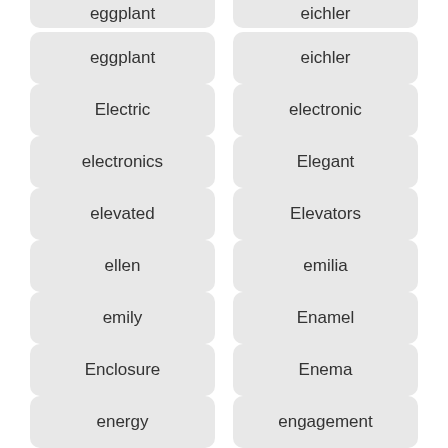eggplant
eichler
Electric
electronic
electronics
Elegant
elevated
Elevators
ellen
emilia
emily
Enamel
Enclosure
Enema
energy
engagement
england
english